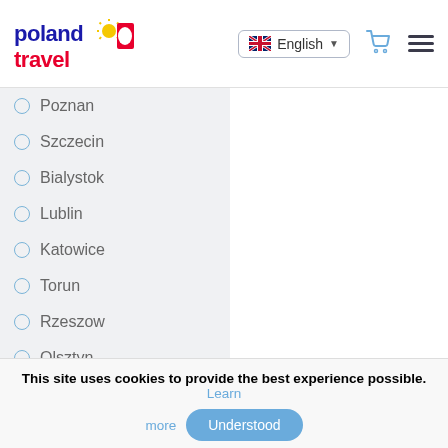poland travel — English language selector, cart icon, hamburger menu
Poznan
Szczecin
Bialystok
Lublin
Katowice
Torun
Rzeszow
Olsztyn
Bydgoszcz
Czestochowa
Kielce
Zamosc
This site uses cookies to provide the best experience possible. Learn more Understood